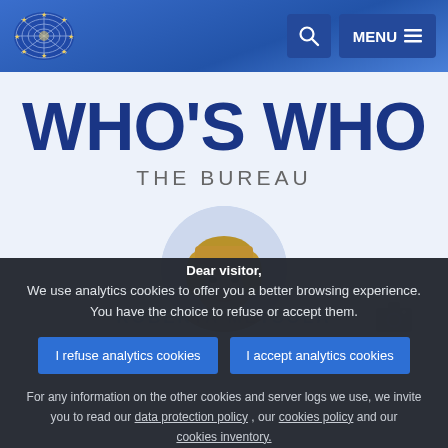European Parliament navigation bar with logo, search button, and MENU button
WHO'S WHO
THE BUREAU
[Figure (photo): Circular portrait photo of a woman with blonde/brown hair, partially visible, cropped at bottom]
Dear visitor,
We use analytics cookies to offer you a better browsing experience. You have the choice to refuse or accept them.
I refuse analytics cookies
I accept analytics cookies
For any information on the other cookies and server logs we use, we invite you to read our data protection policy , our cookies policy and our cookies inventory.